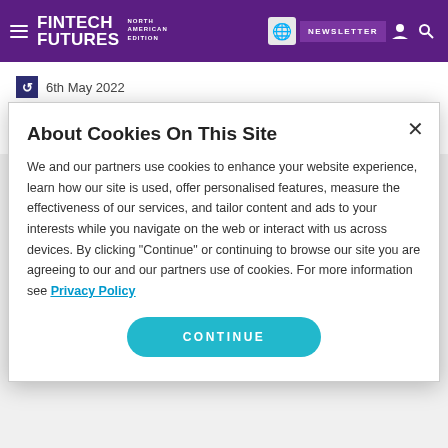FINTECH FUTURES NORTH AMERICAN EDITION — NEWSLETTER
6th May 2022
VIEW ALL
About Cookies On This Site
We and our partners use cookies to enhance your website experience, learn how our site is used, offer personalised features, measure the effectiveness of our services, and tailor content and ads to your interests while you navigate on the web or interact with us across devices. By clicking "Continue" or continuing to browse our site you are agreeing to our and our partners use of cookies. For more information see Privacy Policy
CONTINUE